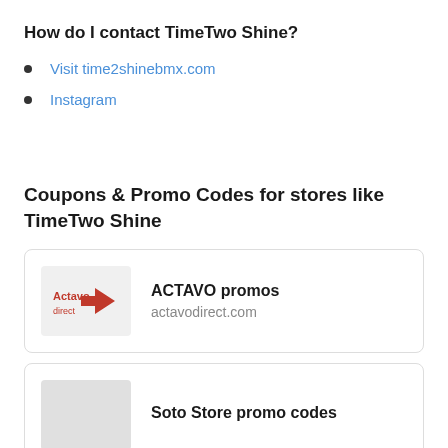How do I contact TimeTwo Shine?
Visit time2shinebmx.com
Instagram
Coupons & Promo Codes for stores like TimeTwo Shine
[Figure (logo): Actavo Direct logo — red text and arrow graphic on light grey background]
ACTAVO promos
actavodirect.com
[Figure (logo): Grey placeholder logo for Soto Store]
Soto Store promo codes